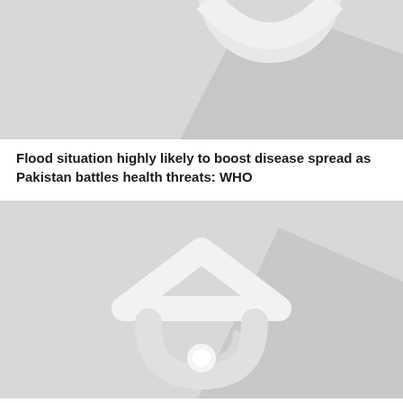[Figure (photo): Placeholder image with stylized icon, partially visible at top of page]
Flood situation highly likely to boost disease spread as Pakistan battles health threats: WHO
[Figure (photo): Placeholder image with stylized icon representing a news article thumbnail]
New weather systems may cause more rain in September: